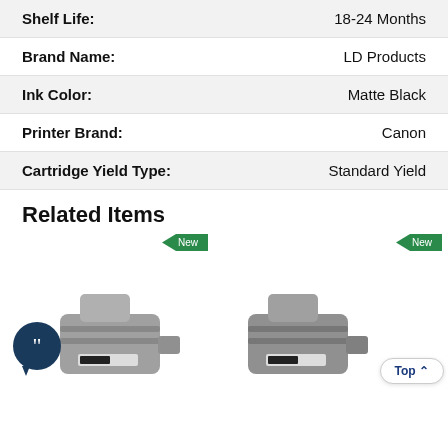| Attribute | Value |
| --- | --- |
| Shelf Life: | 18-24 Months |
| Brand Name: | LD Products |
| Ink Color: | Matte Black |
| Printer Brand: | Canon |
| Cartridge Yield Type: | Standard Yield |
Related Items
[Figure (photo): Two ink cartridge product images with 'New' badges, a chat bubble icon on the left item, and a 'Top' scroll button on the right item.]